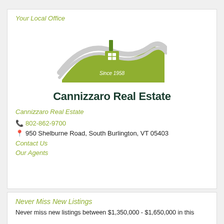Your Local Office
[Figure (logo): Cannizzaro Real Estate logo with green hill, house, chimney and 'Since 1958' text above company name]
Cannizzaro Real Estate
📞 802-862-9700
📍 950 Shelburne Road, South Burlington, VT 05403
Contact Us
Our Agents
Never Miss New Listings
Never miss new listings between $1,350,000 - $1,650,000 in this